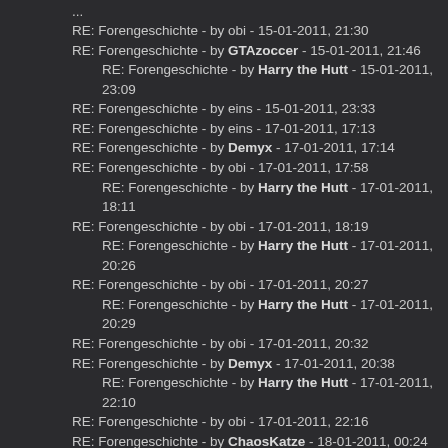RE: Forengeschichte - by obi - 15-01-2011, 21:30
RE: Forengeschichte - by GTAzoccer - 15-01-2011, 21:46
RE: Forengeschichte - by Harry the Hutt - 15-01-2011, 23:09
RE: Forengeschichte - by eins - 15-01-2011, 23:33
RE: Forengeschichte - by eins - 17-01-2011, 17:13
RE: Forengeschichte - by Demyx - 17-01-2011, 17:14
RE: Forengeschichte - by obi - 17-01-2011, 17:58
RE: Forengeschichte - by Harry the Hutt - 17-01-2011, 18:11
RE: Forengeschichte - by obi - 17-01-2011, 18:19
RE: Forengeschichte - by Harry the Hutt - 17-01-2011, 20:26
RE: Forengeschichte - by obi - 17-01-2011, 20:27
RE: Forengeschichte - by Harry the Hutt - 17-01-2011, 20:29
RE: Forengeschichte - by obi - 17-01-2011, 20:32
RE: Forengeschichte - by Demyx - 17-01-2011, 20:38
RE: Forengeschichte - by Harry the Hutt - 17-01-2011, 22:10
RE: Forengeschichte - by obi - 17-01-2011, 22:16
RE: Forengeschichte - by ChaosKatze - 18-01-2011, 00:24
RE: Forengeschichte - by Demyx - 18-01-2011, 00:25
RE: Forengeschichte - by Harry the Hutt - 18-01-2011, 00:00